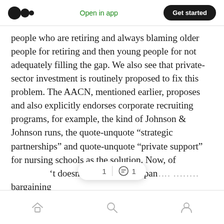Open in app | Get started
people who are retiring and always blaming older people for retiring and then young people for not adequately filling the gap. We also see that private-sector investment is routinely proposed to fix this problem. The AACN, mentioned earlier, proposes and also explicitly endorses corporate recruiting programs, for example, the kind of Johnson & Johnson runs, the quote-unquote “strategic partnerships” and quote-unquote “private support” for nursing schools as the solution. Now, of … ’t doesn’t recommend expan… … bargaining
Home | Search | Profile